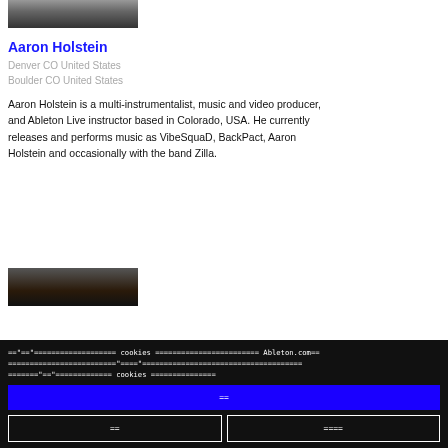[Figure (photo): Top portion of a person's face photo, cropped at top of page]
Aaron Holstein
Denver CO United States
Boulder CO United States
Aaron Holstein is a multi-instrumentalist, music and video producer, and Ableton Live instructor based in Colorado, USA. He currently releases and performs music as VibeSquaD, BackPact, Aaron Holstein and occasionally with the band Zilla.
[Figure (photo): Bottom portion of another person's face photo, partially visible]
=="=="=================== cookies ======================== Ableton.com==
========================="===="=====================================
======"=="============= cookies ===============